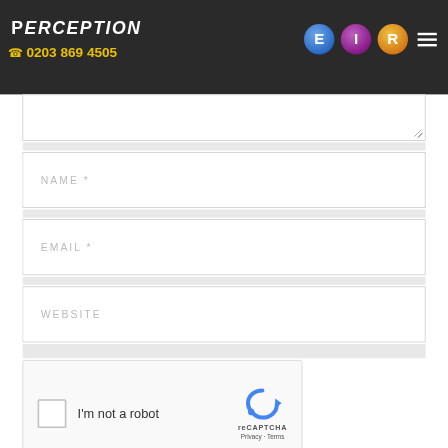[Figure (screenshot): Perception website header with logo, phone number 0203 869 4505, navigation icons E, I, R and hamburger menu on dark background]
[Figure (screenshot): Partially visible comment textarea input field]
NAME *
EMAIL *
WEBSITE
[Figure (screenshot): reCAPTCHA widget with checkbox, I'm not a robot label, reCAPTCHA logo, Privacy and Terms links]
SUBMIT COMMENT
< PREV POST
NEXT POST >